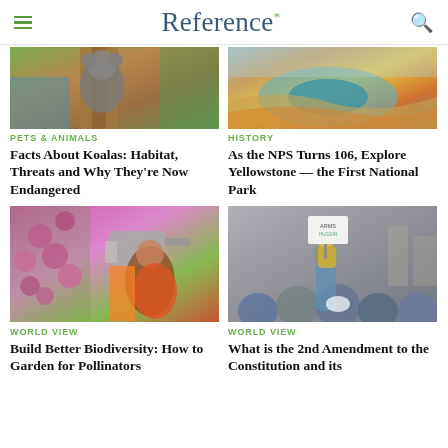Reference*
[Figure (photo): Koala clinging to a tree trunk with greenery and water in background]
[Figure (photo): Yellowstone colorful thermal pool landscape with orange, yellow, green mineral deposits]
PETS & ANIMALS
HISTORY
Facts About Koalas: Habitat, Threats and Why They're Now Endangered
As the NPS Turns 106, Explore Yellowstone — the First National Park
[Figure (photo): Young girl watering colorful pink flowers with a metal watering can]
[Figure (photo): Child holding a sign at a protest rally sitting on someone's shoulders in a crowd]
WORLD VIEW
WORLD VIEW
Build Better Biodiversity: How to Garden for Pollinators
What is the 2nd Amendment to the Constitution and its